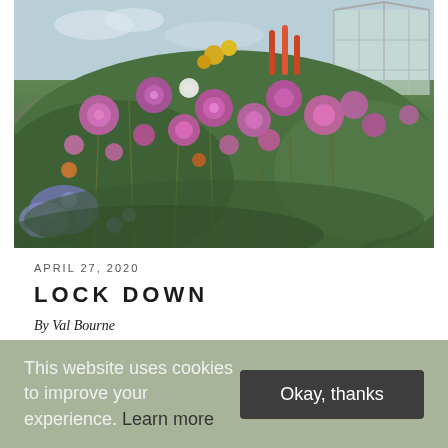[Figure (photo): A lush garden in full bloom with abundant purple and pink flowers (dahlias and anemones), blue flowers in the foreground, yellow and red torch lilies, green foliage, and a glass greenhouse visible in the upper right corner. Blue sky with clouds in the background.]
APRIL 27, 2020
LOCK DOWN
By Val Bourne
This website uses cookies to improve your experience. Learn more
Okay, thanks